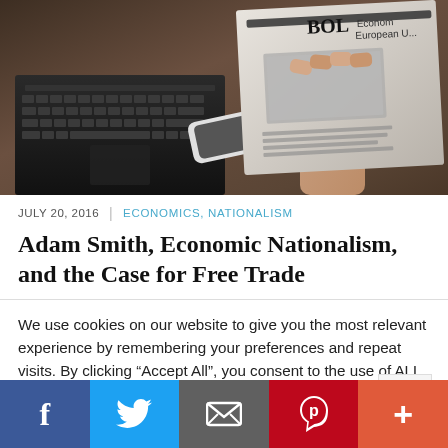[Figure (photo): A person holding a newspaper with headlines visible, next to a laptop computer and smartphone on a wooden table. The newspaper shows what appears to be financial/European Union related headlines.]
JULY 20, 2016 | ECONOMICS, NATIONALISM
Adam Smith, Economic Nationalism, and the Case for Free Trade
We use cookies on our website to give you the most relevant experience by remembering your preferences and repeat visits. By clicking “Accept All”, you consent to the use of ALL the cookies. However, you may visit "Cookie Settings" to provide a controlled consent.